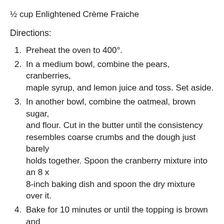½ cup Enlightened Crème Fraiche
Directions:
1. Preheat the oven to 400°.
2. In a medium bowl, combine the pears, cranberries, maple syrup, and lemon juice and toss. Set aside.
3. In another bowl, combine the oatmeal, brown sugar, and flour. Cut in the butter until the consistency resembles coarse crumbs and the dough just barely holds together. Spoon the cranberry mixture into an 8 x 8-inch baking dish and spoon the dry mixture over it.
4. Bake for 10 minutes or until the topping is brown and crisp. Reduce the heat to 350°
and bake for 20 to 25 minutes more, or until the fruit is bubbling. Serve with Enlightened Crème Fraiche.